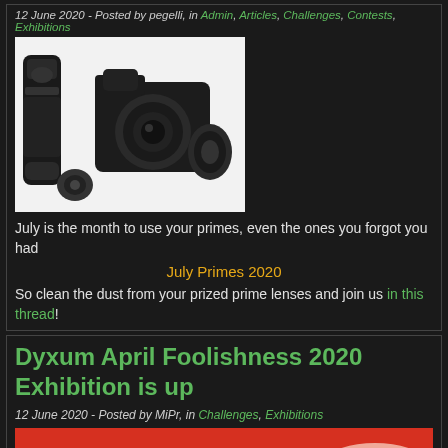12 June 2020 - Posted by pegelli, in Admin, Articles, Challenges, Contests, Exhibitions
[Figure (photo): Black and white photo of a Sony mirrorless camera body with multiple lenses arranged around it]
July is the month to use your primes, even the ones you forgot you had
July Primes 2020
So clean the dust from your prized prime lenses and join us in this thread!
Dyxum April Foolishness 2020 Exhibition is up
12 June 2020 - Posted by MiPr, in Challenges, Exhibitions
[Figure (photo): Red background image with a white/pink curved shape visible at the bottom right]